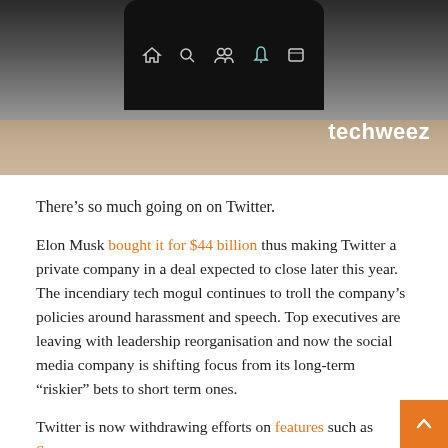[Figure (photo): Photo of a smartphone displayed against a wooden surface background, showing Twitter app icons on the screen. The Techweez logo appears in the bottom right of the image.]
There’s so much going on on Twitter.
Elon Musk bought it for $44 billion thus making Twitter a private company in a deal expected to close later this year. The incendiary tech mogul continues to troll the company’s policies around harassment and speech. Top executives are leaving with leadership reorganisation and now the social media company is shifting focus from its long-term “riskier” bets to short term ones.
Twitter is now withdrawing efforts on features such as Spaces,